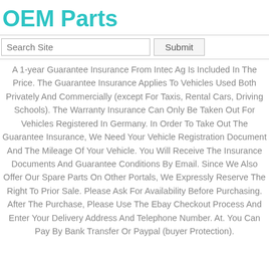OEM Parts
A 1-year Guarantee Insurance From Intec Ag Is Included In The Price. The Guarantee Insurance Applies To Vehicles Used Both Privately And Commercially (except For Taxis, Rental Cars, Driving Schools). The Warranty Insurance Can Only Be Taken Out For Vehicles Registered In Germany. In Order To Take Out The Guarantee Insurance, We Need Your Vehicle Registration Document And The Mileage Of Your Vehicle. You Will Receive The Insurance Documents And Guarantee Conditions By Email. Since We Also Offer Our Spare Parts On Other Portals, We Expressly Reserve The Right To Prior Sale. Please Ask For Availability Before Purchasing. After The Purchase, Please Use The Ebay Checkout Process And Enter Your Delivery Address And Telephone Number. At. You Can Pay By Bank Transfer Or Paypal (buyer Protection).